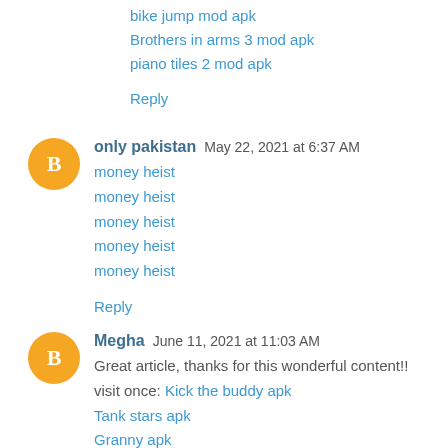bike jump mod apk
Brothers in arms 3 mod apk
piano tiles 2 mod apk
Reply
only pakistan  May 22, 2021 at 6:37 AM
money heist
money heist
money heist
money heist
money heist
Reply
Megha  June 11, 2021 at 11:03 AM
Great article, thanks for this wonderful content!!
visit once: Kick the buddy apk
Tank stars apk
Granny apk
zombie catchers apk